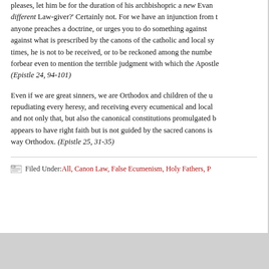pleases, let him be for the duration of his archbishopric a new Evan different Law-giver?' Certainly not. For we have an injunction from t anyone preaches a doctrine, or urges you to do something against against what is prescribed by the canons of the catholic and local sy times, he is not to be received, or to be reckoned among the numbe forbear even to mention the terrible judgment with which the Apostle (Epistle 24, 94-101)
Even if we are great sinners, we are Orthodox and children of the u repudiating every heresy, and receiving every ecumenical and local and not only that, but also the canonical constitutions promulgated b appears to have right faith but is not guided by the sacred canons is way Orthodox. (Epistle 25, 31-35)
Filed Under: All, Canon Law, False Ecumenism, Holy Fathers, P